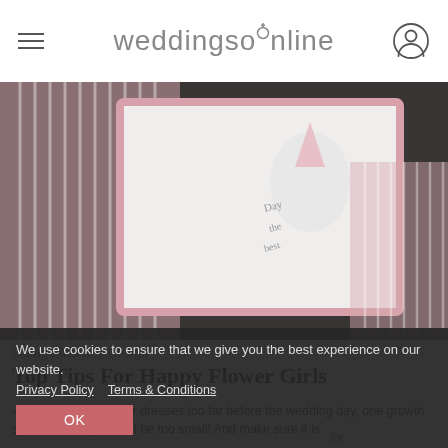weddingsonline
[Figure (photo): Pink and white striped children's clothing items laid on a dark surface, including a top with a unicorn design]
Garage Monkey Design
Top Tips For Happy Flower Girls
– Don't go buying their dresses too far before the wedding day, one growth spurt too many and it'll be too small! And make sure it is
We use cookies to ensure that we give you the best experience on our website.
Privacy Policy   Terms & Conditions
OK